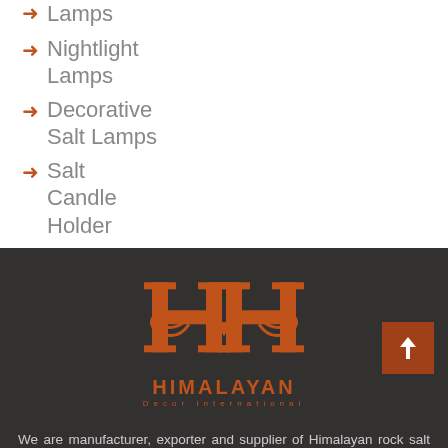Lamps
Nightlight Lamps
Decorative Salt Lamps
Salt Candle Holder
Edible Pink Salt
[Figure (logo): Himalayan Decor International logo with ornamental HH monogram in brown/orange on dark background]
We are manufacturer, exporter and supplier of Himalayan rock salt products. As we are dealing from